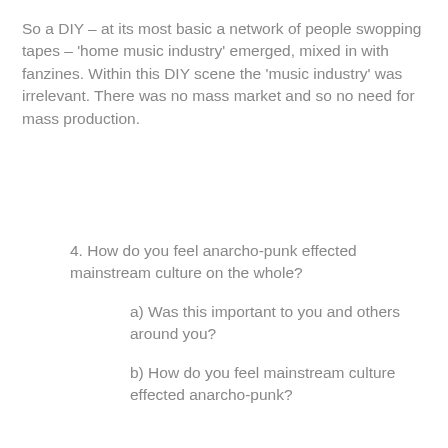So a DIY – at its most basic a network of people swopping tapes – 'home music industry' emerged, mixed in with fanzines. Within this DIY scene the 'music industry' was irrelevant. There was no mass market and so no need for mass production.
4. How do you feel anarcho-punk effected mainstream culture on the whole?
a) Was this important to you and others around you?
b) How do you feel mainstream culture effected anarcho-punk?